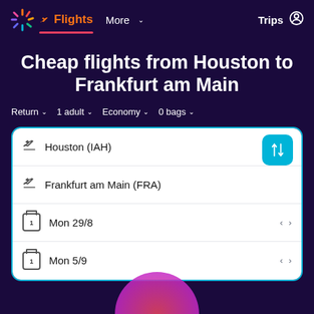Flights  More  Trips
Cheap flights from Houston to Frankfurt am Main
Return  1 adult  Economy  0 bags
Houston (IAH)
Frankfurt am Main (FRA)
Mon 29/8
Mon 5/9